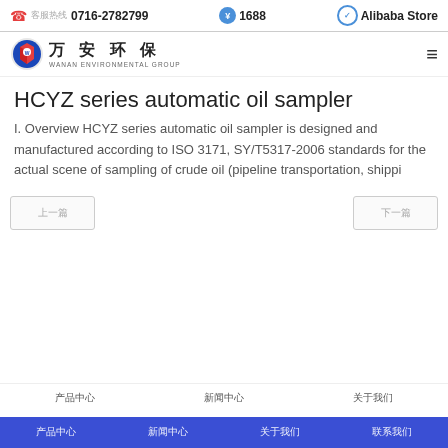📞 客服热线 0716-2782799  ¥ 1688  Alibaba Store
[Figure (logo): Wanan Environmental Group logo — red and blue circular emblem with Chinese characters 万安环保 and subtext WANAN ENVIRONMENTAL GROUP]
HCYZ series automatic oil sampler
I. Overview HCYZ series automatic oil sampler is designed and manufactured according to ISO 3171, SY/T5317-2006 standards for the actual scene of sampling of crude oil (pipeline transportation, shippi
上一篇  下一篇
产品中心  新闻中心  关于我们
产品中心  新闻中心  关于我们  联系我们